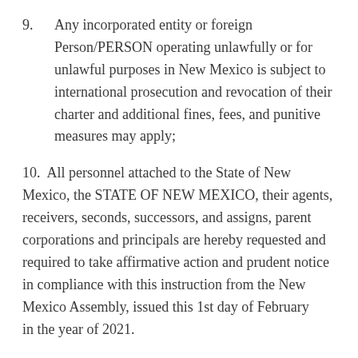9. Any incorporated entity or foreign Person/PERSON operating unlawfully or for unlawful purposes in New Mexico is subject to international prosecution and revocation of their charter and additional fines, fees, and punitive measures may apply;
10. All personnel attached to the State of New Mexico, the STATE OF NEW MEXICO, their agents, receivers, seconds, successors, and assigns, parent corporations and principals are hereby requested and required to take affirmative action and prudent notice in compliance with this instruction from the New Mexico Assembly, issued this 1st day of February in the year of 2021.